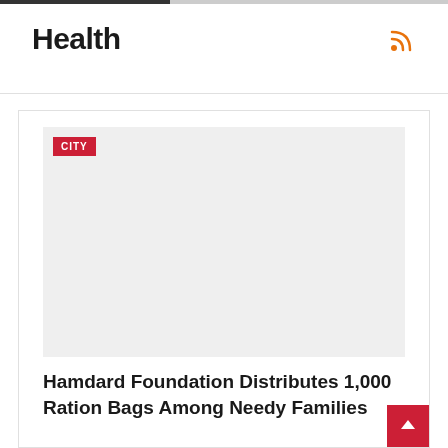Health
[Figure (photo): Gray placeholder image with a red CITY badge label in top-left corner]
Hamdard Foundation Distributes 1,000 Ration Bags Among Needy Families
K A Mian  •  Apr 14, 2020